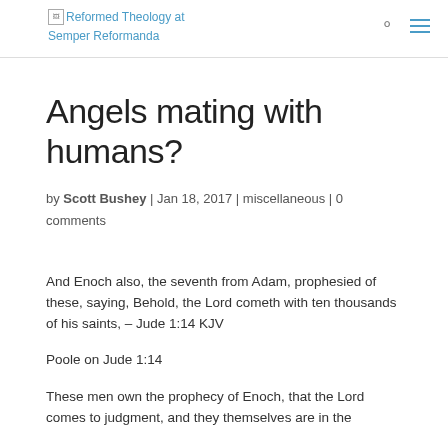Reformed Theology at Semper Reformanda
Angels mating with humans?
by Scott Bushey | Jan 18, 2017 | miscellaneous | 0 comments
And Enoch also, the seventh from Adam, prophesied of these, saying, Behold, the Lord cometh with ten thousands of his saints, – Jude 1:14 KJV
Poole on Jude 1:14
These men own the prophecy of Enoch, that the Lord comes to judgment, and they themselves are in the